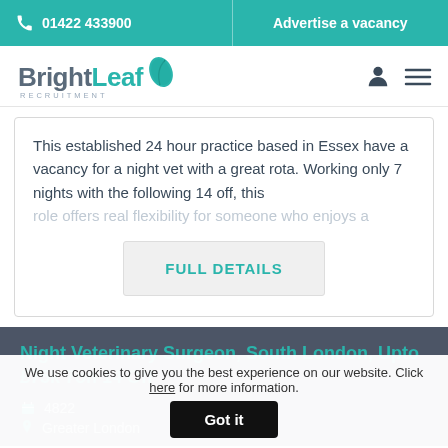📞 01422 433900 | Advertise a vacancy
[Figure (logo): BrightLeaf Recruitment logo with teal leaf icon]
This established 24 hour practice based in Essex have a vacancy for a night vet with a great rota. Working only 7 nights with the following 14 off, this role offers real flexibility for someone who enjoys a
FULL DETAILS
Night Veterinary Surgeon, South London, Upto £75k 7on 14 Off
4822
Greater London
We use cookies to give you the best experience on our website. Click here for more information.
Got it